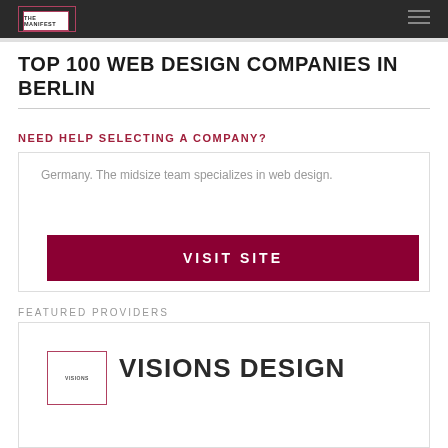THE MANIFEST
TOP 100 WEB DESIGN COMPANIES IN BERLIN
NEED HELP SELECTING A COMPANY?
Germany. The midsize team specializes in web design.
VISIT SITE
FEATURED PROVIDERS
VISIONS DESIGN